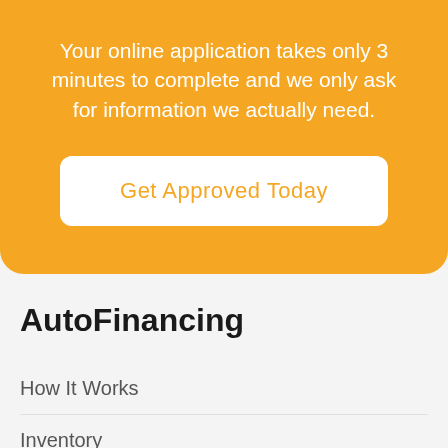Your online application takes only 3 minutes to complete and we only ask for information we actually need.
Get Approved Today
AutoFinancing
How It Works
Inventory
Customer Reviews